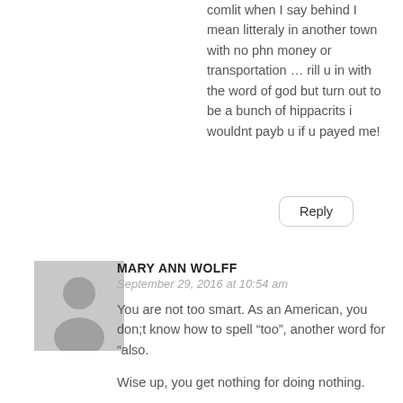comlit when I say behind I mean litteraly in another town with no phn money or transportation … rill u in with the word of god but turn out to be a bunch of hippacrits i wouldnt payb u if u payed me!
Reply
MARY ANN WOLFF
September 29, 2016 at 10:54 am
You are not too smart. As an American, you don;t know how to spell “too”, another word for “also.
Wise up, you get nothing for doing nothing.
I never worked the business